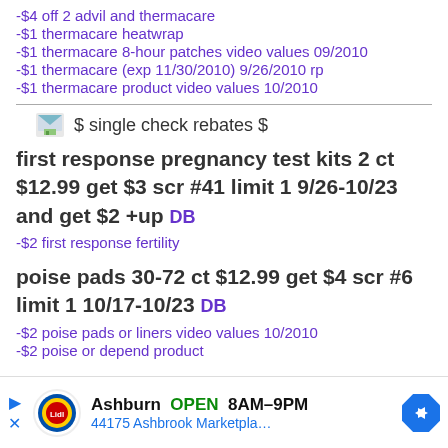-$4 off 2 advil and thermacare
-$1 thermacare heatwrap
-$1 thermacare 8-hour patches video values 09/2010
-$1 thermacare (exp 11/30/2010) 9/26/2010 rp
-$1 thermacare product video values 10/2010
$ single check rebates $
first response pregnancy test kits 2 ct $12.99 get $3 scr #41 limit 1 9/26-10/23 and get $2 +up DB
-$2 first response fertility
poise pads 30-72 ct $12.99 get $4 scr #6 limit 1 10/17-10/23 DB
-$2 poise pads or liners video values 10/2010
-$2 poise or depend product
[Figure (screenshot): Lidl store ad banner: Ashburn OPEN 8AM-9PM, 44175 Ashbrook Marketpla...]